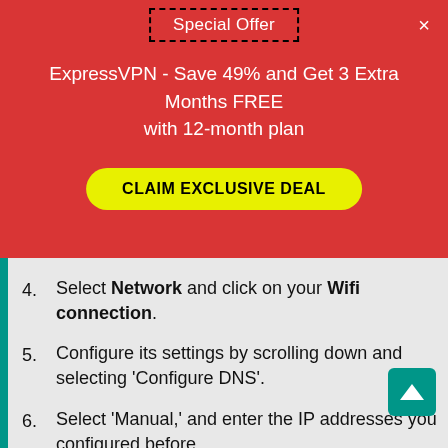Special Offer
ExpressVPN - Save 49% and Get 3 Extra Months FREE with 12-month plan
CLAIM EXCLUSIVE DEAL
3. Open your Apple TV and go to Settings.
4. Select Network and click on your Wifi connection.
5. Configure its settings by scrolling down and selecting ‘Configure DNS’.
6. Select ‘Manual,’ and enter the IP addresses you configured before.
7. Restart your Apple TV and download BFI on it.